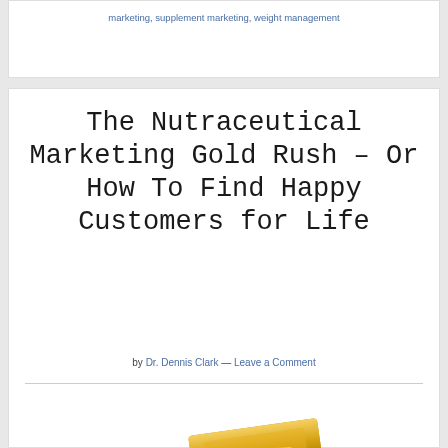marketing, supplement marketing, weight management
The Nutraceutical Marketing Gold Rush – Or How To Find Happy Customers for Life
by Dr. Dennis Clark — Leave a Comment
[Figure (photo): Stack of gold bars/ingots]